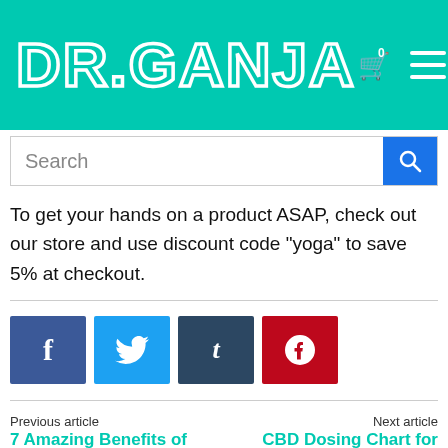DR.GANJA
To get your hands on a product ASAP, check out our store and use discount code “yoga” to save 5% at checkout.
[Figure (infographic): Social share buttons: Facebook (blue), Twitter (light blue), Tumblr (dark blue), Pinterest (red)]
Previous article
7 Amazing Benefits of CBD Lotion
Next article
CBD Dosing Chart for Dogs & Cats
Allie Murphy
Allie Murphy is a freelance writer who loves